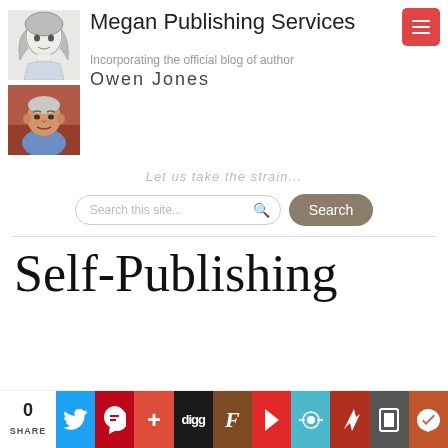[Figure (illustration): Two portrait photos: top is an anime/sketch drawing of a girl, bottom is a photo of an older man sitting at a table]
Megan Publishing Services
Incorporating the official blog of author
Owen Jones
Let us take the strain...
Search this site... Search
Self-Publishing
0 SHARE